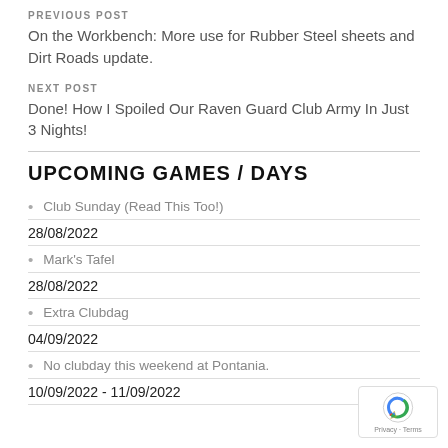PREVIOUS POST
On the Workbench: More use for Rubber Steel sheets and Dirt Roads update.
NEXT POST
Done! How I Spoiled Our Raven Guard Club Army In Just 3 Nights!
UPCOMING GAMES / DAYS
Club Sunday (Read This Too!)
28/08/2022
Mark's Tafel
28/08/2022
Extra Clubdag
04/09/2022
No clubday this weekend at Pontania.
10/09/2022 - 11/09/2022